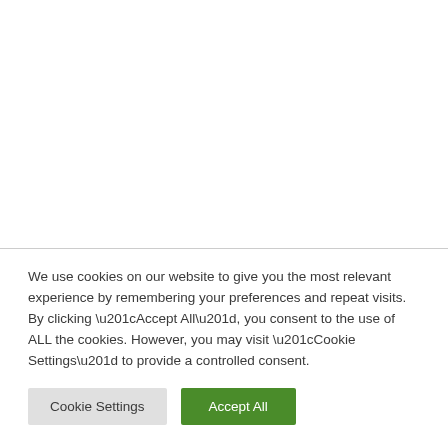We use cookies on our website to give you the most relevant experience by remembering your preferences and repeat visits. By clicking “Accept All”, you consent to the use of ALL the cookies. However, you may visit “Cookie Settings” to provide a controlled consent.